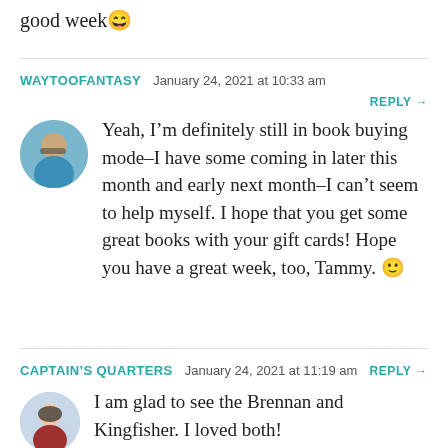good week 😄
WAYTOOFANTASY   January 24, 2021 at 10:33 am
REPLY →
Yeah, I'm definitely still in book buying mode–I have some coming in later this month and early next month–I can't seem to help myself. I hope that you get some great books with your gift cards! Hope you have a great week, too, Tammy. 🙂
CAPTAIN'S QUARTERS   January 24, 2021 at 11:19 am   REPLY →
I am glad to see the Brennan and Kingfisher. I loved both!